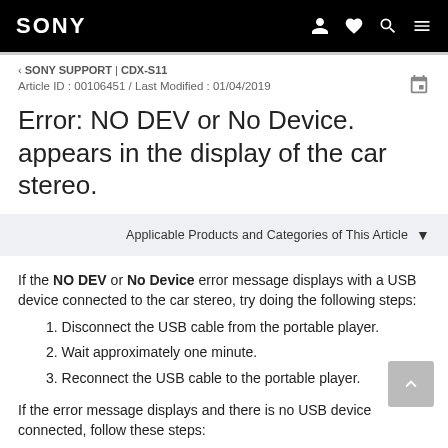SONY | navigation icons
‹ SONY SUPPORT | CDX-S11
Article ID : 00106451 / Last Modified : 01/04/2019
Error: NO DEV or No Device. appears in the display of the car stereo.
Applicable Products and Categories of This Article
If the NO DEV or No Device error message displays with a USB device connected to the car stereo, try doing the following steps:
1. Disconnect the USB cable from the portable player.
2. Wait approximately one minute.
3. Reconnect the USB cable to the portable player.
If the error message displays and there is no USB device connected, follow these steps: